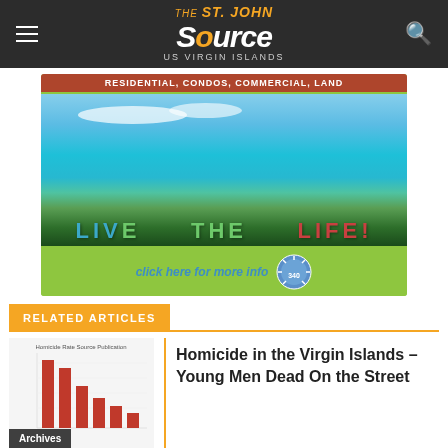THE St. John Source US VIRGIN ISLANDS
[Figure (photo): Real estate advertisement showing a tropical beach scene with turquoise water and green hills. Text overlay reads: RESIDENTIAL, CONDOS, COMMERCIAL, LAND / LIVE THE LIFE! / click here for more info. Features a circular logo with 340 on it.]
RELATED ARTICLES
[Figure (bar-chart): Small thumbnail chart showing declining red bars, labeled Archives at the bottom]
Homicide in the Virgin Islands – Young Men Dead On the Street